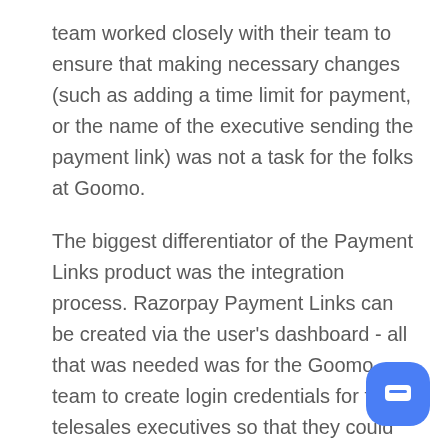team worked closely with their team to ensure that making necessary changes (such as adding a time limit for payment, or the name of the executive sending the payment link) was not a task for the folks at Goomo. The biggest differentiator of the Payment Links product was the integration process. Razorpay Payment Links can be created via the user's dashboard - all that was needed was for the Goomo team to create login credentials for their telesales executives so that they could start sending the payment links to customers who had dropped off.